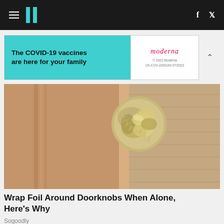HuffPost navigation with hamburger menu, logo, Facebook and Twitter icons
[Figure (infographic): Advertisement banner: 'The COVID-19 vaccines are here for your family' with Moderna logo and small print © 2022 Moderna US-COV-2200160 07/2022]
[Figure (photo): Close-up photo of a doorknob wrapped in aluminum foil on a wooden door]
Wrap Foil Around Doorknobs When Alone, Here's Why
Sogoodly
[Figure (photo): Animated/3D illustration of a character with green dreadlocks and glowing green eyes near a plant]